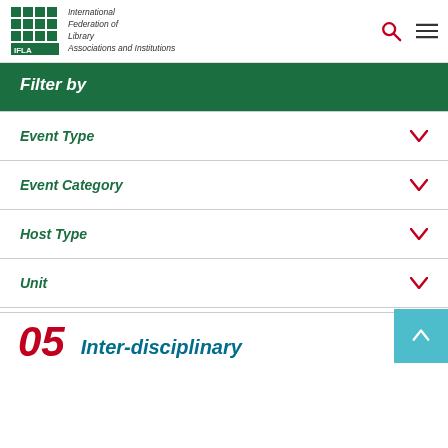International Federation of Library Associations and Institutions
Filter by
Event Type
Event Category
Host Type
Unit
05  Inter-disciplinary